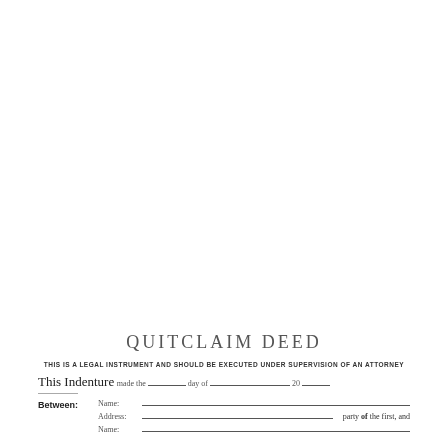QUITCLAIM DEED
THIS IS A LEGAL INSTRUMENT AND SHOULD BE EXECUTED UNDER SUPERVISION OF AN ATTORNEY
This Indenture made the_______day of________________20____
Between: Name: ___________________________________
Address: ___________________________________ party of the first, and
Name: ___________________________________